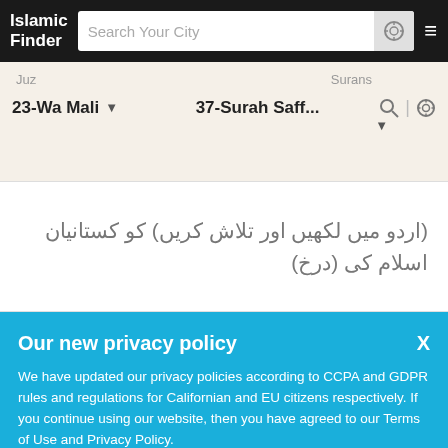Islamic Finder
Search Your City
Juz · Surans
23-Wa Mali ▼    37-Surah Saff... ▼
(اردو میں لکھیں اور تلاش کریں) کو کستانیان اسلام کی (درخ)
Our new privacy policy
We have updated our privacy policies according to CCPA and GDPR rules and regulations for Californian and EU citizens respectively. If you continue using our website, then you have agreed to our Terms of Use and Privacy Policy.
Got it  or  More Info